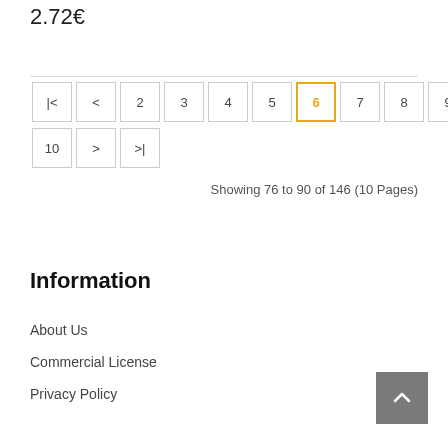2.72€
Showing 76 to 90 of 146 (10 Pages)
Information
About Us
Commercial License
Privacy Policy